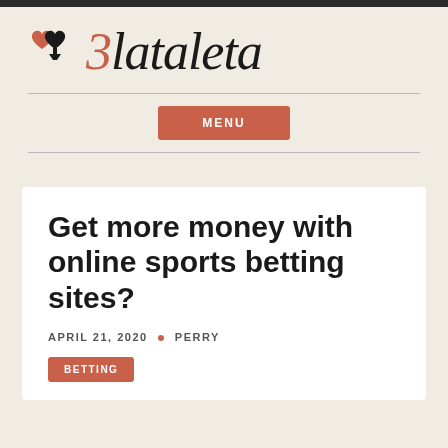[Figure (logo): Zlataleta website logo with heart and spade card suit icons and stylized brand name in italic font]
Get more money with online sports betting sites?
APRIL 21, 2020 • PERRY
BETTING